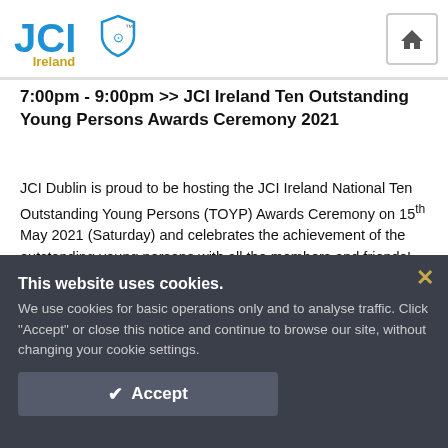[Figure (logo): JCI Ireland logo with blue JCI text and shield icon, 'Ireland' in gold/yellow below]
7:00pm - 9:00pm >> JCI Ireland Ten Outstanding Young Persons Awards Ceremony 2021
JCI Dublin is proud to be hosting the JCI Ireland National Ten Outstanding Young Persons (TOYP) Awards Ceremony on 15th May 2021 (Saturday) and celebrates the achievement of the outstanding young persons with all the members and friends!
This website uses cookies. We use cookies for basic operations only and to analyse traffic. Click "Accept" or close this notice and continue to browse our site, without changing your cookie settings.
✓ Accept
ent & JCI Got Talent
Let's celebrate at the online after-party! JCI Dublin has